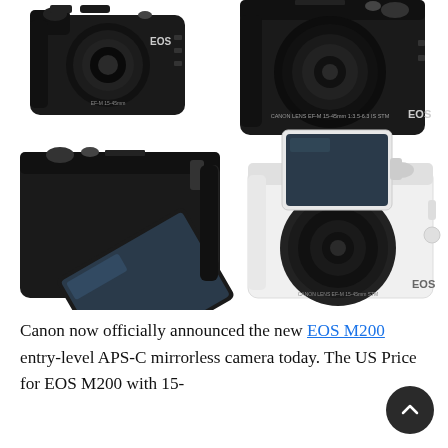[Figure (photo): Four product photos of Canon EOS M200 mirrorless cameras: top-left shows black camera front/left view, top-right shows black camera front view with lens, bottom-left shows black camera rear view with tilted LCD screen, bottom-right shows white camera with tilted selfie LCD screen open.]
Canon now officially announced the new EOS M200 entry-level APS-C mirrorless camera today. The US Price for EOS M200 with 15-